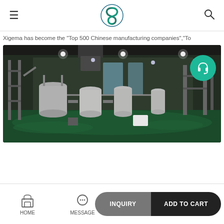Xigema logo, hamburger menu, search icon
Xigema has become the "Top 500 Chinese manufacturing companies","To
[Figure (photo): Interior of industrial manufacturing facility with large stainless steel tanks, processing equipment, and green epoxy floor. Support/headset button overlay in top right.]
HOME | MESSAGE | INQUIRY | ADD TO CART